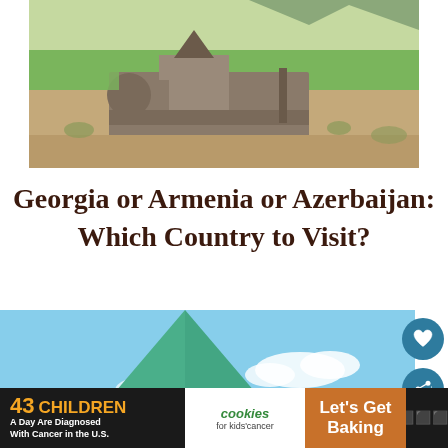[Figure (photo): Aerial view of an ancient Armenian stone monastery complex with a church featuring a conical spire, set in a dry landscape with green fields and mountains in the background.]
Georgia or Armenia or Azerbaijan: Which Country to Visit?
[Figure (photo): Close-up of a turquoise/green conical roof of a traditional Caucasian church tower against a blue sky with clouds.]
[Figure (other): Advertisement banner: '43 CHILDREN A Day Are Diagnosed With Cancer in the U.S.' with cookies for kids' cancer logo and 'Let's Get Baking' call to action.]